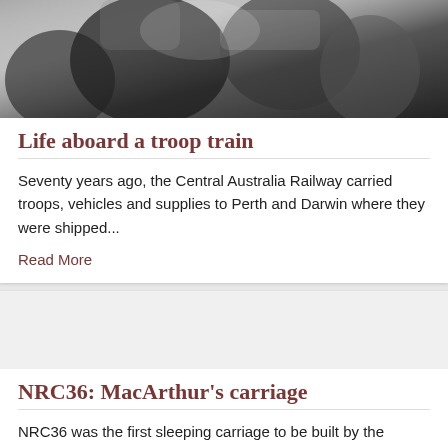[Figure (photo): Black and white photograph of people, likely soldiers or troops, in close proximity, partially visible from above.]
Life aboard a troop train
Seventy years ago, the Central Australia Railway carried troops, vehicles and supplies to Perth and Darwin where they were shipped...
Read More
[Figure (photo): Empty whitespace placeholder for second card image area.]
NRC36: MacArthur's carriage
NRC36 was the first sleeping carriage to be built by the Commonwealth Railways (CR) for the Central Australia Railway. It...